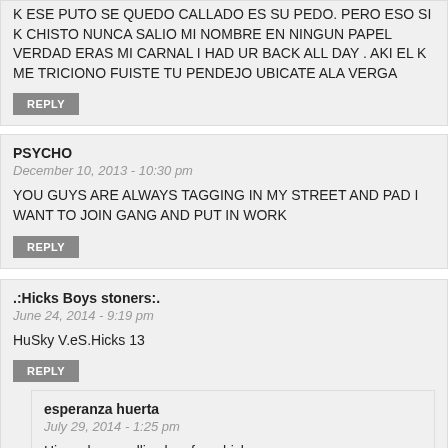K ESE PUTO SE QUEDO CALLADO ES SU PEDO. PERO ESO SI K CHISTO NUNCA SALIO MI NOMBRE EN NINGUN PAPEL VERDAD ERAS MI CARNAL I HAD UR BACK ALL DAY . AKI EL K ME TRICIONO FUISTE TU PENDEJO UBICATE ALA VERGA
REPLY
PSYCHO
December 10, 2013 - 10:30 pm
YOU GUYS ARE ALWAYS TAGGING IN MY STREET AND PAD I WANT TO JOIN GANG AND PUT IN WORK
REPLY
.:Hicks Boys stoners:.
June 24, 2014 - 9:19 pm
HuSky V.eS.Hicks 13
REPLY
esperanza huerta
July 29, 2014 - 1:25 pm
Hi you know edlive boy from hicks
REPLY